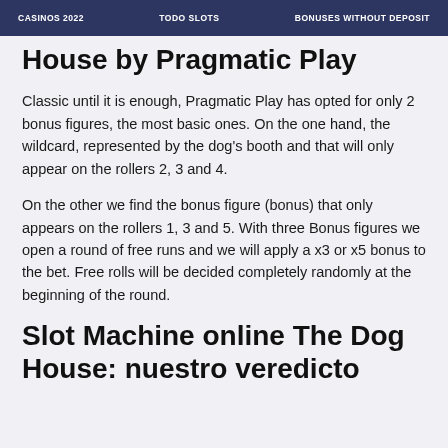CASINOS 2022   TODO SLOTS   BONUSES WITHOUT DEPOSIT
House by Pragmatic Play
Classic until it is enough, Pragmatic Play has opted for only 2 bonus figures, the most basic ones. On the one hand, the wildcard, represented by the dog's booth and that will only appear on the rollers 2, 3 and 4.
On the other we find the bonus figure (bonus) that only appears on the rollers 1, 3 and 5. With three Bonus figures we open a round of free runs and we will apply a x3 or x5 bonus to the bet. Free rolls will be decided completely randomly at the beginning of the round.
Slot Machine online The Dog House: nuestro veredicto